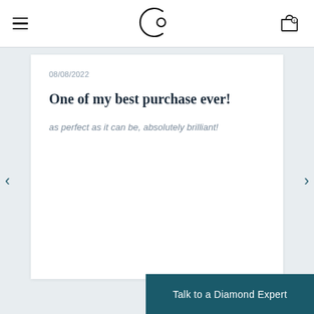[Figure (logo): Brand logo: stylized letter C with a circle, resembling a jewelry brand mark]
08/08/2022
One of my best purchase ever!
as perfect as it can be, absolutely brilliant!
Talk to a Diamond Expert